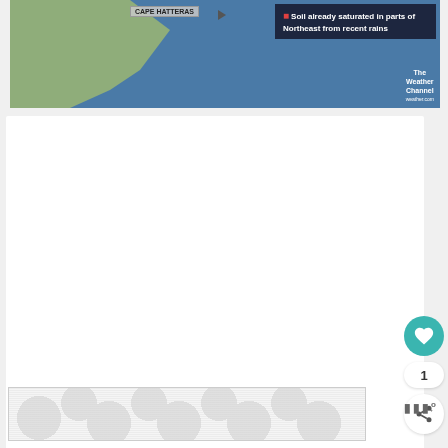[Figure (map): Weather map showing southeastern US coast near Cape Hatteras with ocean area. Overlay text reads 'Soil already saturated in parts of Northeast from recent rains'. The Weather Channel logo and weather.com watermark visible.]
[Figure (other): White/light gray content area (blank/loading area) with social interaction buttons: a teal heart/like button, a count of '1', and a share button with nodes icon.]
[Figure (other): Advertisement banner with repeating circular bubble pattern in light gray on white background. Logo 'NNN' or similar mark appears to the right.]